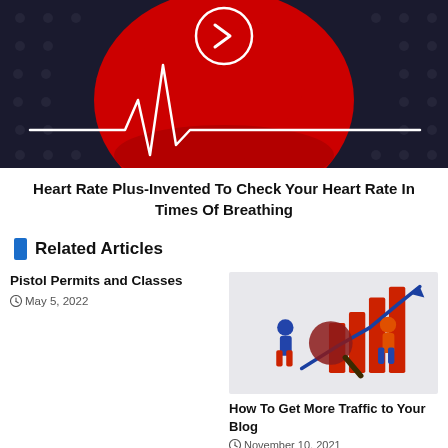[Figure (illustration): Dark metallic background with red heart shape and white EKG/heartbeat line going across. A white circle with a right-pointing arrow chevron is centered at the top of the heart image.]
Heart Rate Plus-Invented To Check Your Heart Rate In Times Of Breathing
Related Articles
Pistol Permits and Classes
May 5, 2022
[Figure (illustration): Illustration of two cartoon figures (one in blue/red outfit, one in orange) pointing at a large bar chart with rising red bars and a blue arrow trending upward, with a magnifying glass overlay. Background is light gray.]
How To Get More Traffic to Your Blog
November 10, 2021